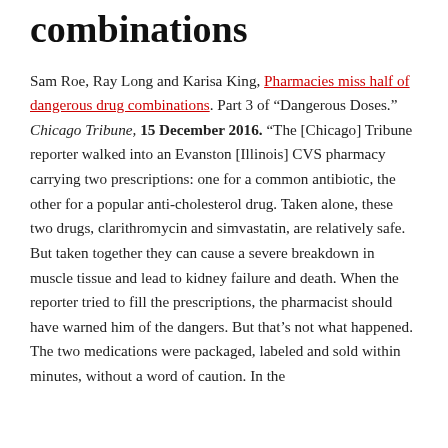combinations
Sam Roe, Ray Long and Karisa King, Pharmacies miss half of dangerous drug combinations. Part 3 of “Dangerous Doses.” Chicago Tribune, 15 December 2016. “The [Chicago] Tribune reporter walked into an Evanston [Illinois] CVS pharmacy carrying two prescriptions: one for a common antibiotic, the other for a popular anti-cholesterol drug. Taken alone, these two drugs, clarithromycin and simvastatin, are relatively safe. But taken together they can cause a severe breakdown in muscle tissue and lead to kidney failure and death. When the reporter tried to fill the prescriptions, the pharmacist should have warned him of the dangers. But that’s not what happened. The two medications were packaged, labeled and sold within minutes, without a word of caution. In the